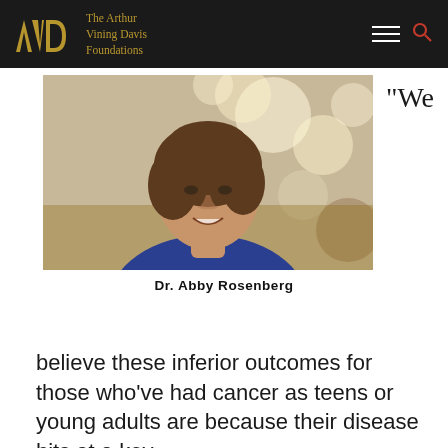The Arthur Vining Davis Foundations
[Figure (photo): Portrait photo of Dr. Abby Rosenberg, a woman with short curly brown hair wearing a blue top, with soft bokeh circular lights in the background]
“We
Dr. Abby Rosenberg
believe these inferior outcomes for those who’ve had cancer as teens or young adults are because their disease hits at a key